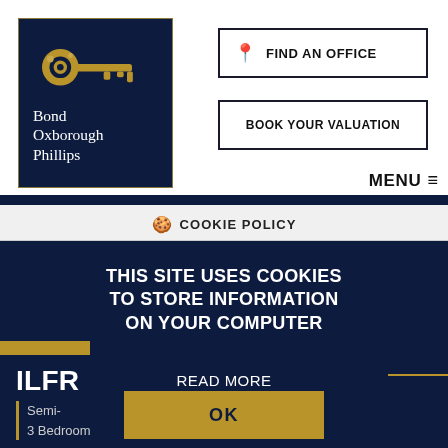[Figure (logo): Bond Oxborough Phillips estate agency logo with gold key on dark navy background]
FIND AN OFFICE
BOOK YOUR VALUATION
MENU
COOKIE POLICY
THIS SITE USES COOKIES TO STORE INFORMATION ON YOUR COMPUTER
READ MORE
OK
<BAC
ILFR
Semi-
3 Bedroom